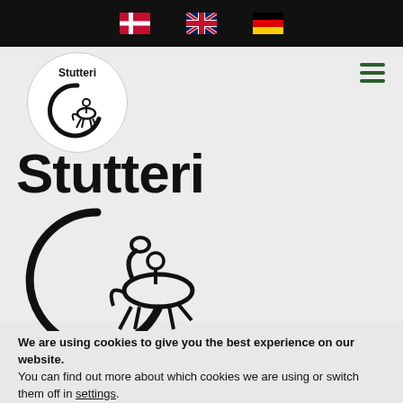Navigation bar with Danish, UK, and German flag icons
[Figure (logo): Stutteri logo: circular white badge with 'Stutteri' text and a dressage horse-and-rider icon (G-shaped outline)]
[Figure (logo): Large Stutteri brand mark in hero area: bold 'Stutteri' text with large dressage horse-and-rider G logo below]
We are using cookies to give you the best experience on our website.
You can find out more about which cookies we are using or switch them off in settings.
Accept | Reject | Settings